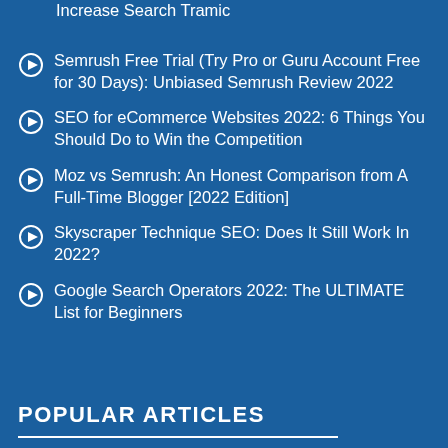Increase Search Tramic
Semrush Free Trial (Try Pro or Guru Account Free for 30 Days): Unbiased Semrush Review 2022
SEO for eCommerce Websites 2022: 6 Things You Should Do to Win the Competition
Moz vs Semrush: An Honest Comparison from A Full-Time Blogger [2022 Edition]
Skyscraper Technique SEO: Does It Still Work In 2022?
Google Search Operators 2022: The ULTIMATE List for Beginners
POPULAR ARTICLES